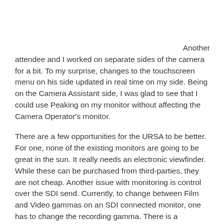Another attendee and I worked on separate sides of the camera for a bit. To my surprise, changes to the touchscreen menu on his side updated in real time on my side. Being on the Camera Assistant side, I was glad to see that I could use Peaking on my monitor without affecting the Camera Operator's monitor.
There are a few opportunities for the URSA to be better. For one, none of the existing monitors are going to be great in the sun. It really needs an electronic viewfinder. While these can be purchased from third-parties, they are not cheap. Another issue with monitoring is control over the SDI send. Currently, to change between Film and Video gammas on an SDI connected monitor, one has to change the recording gamma. There is a separate display gamma setting for the three monitors on the camera. Hopefully a future version of